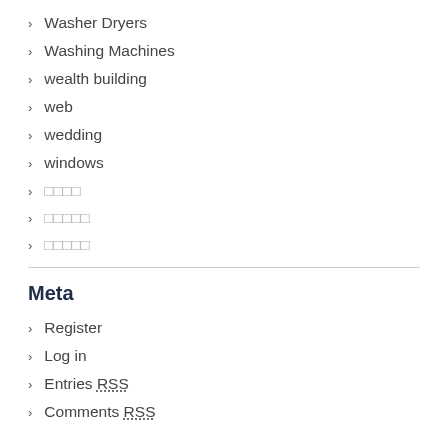Washer Dryers
Washing Machines
wealth building
web
wedding
windows
□□□□
□□□□□
□□□□□
Meta
Register
Log in
Entries RSS
Comments RSS